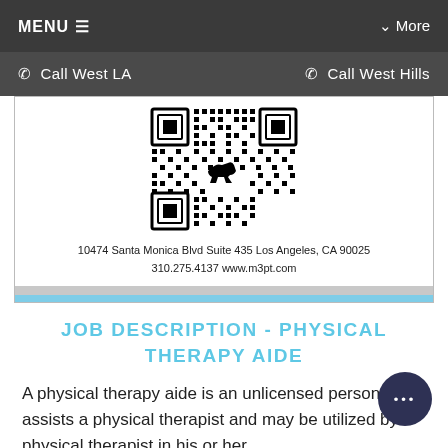MENU ☰    ✓ More
☎ Call West LA    ☎ Call West Hills
[Figure (other): QR code for m3pt.com with dinosaur logo in center]
10474 Santa Monica Blvd Suite 435 Los Angeles, CA 90025
310.275.4137 www.m3pt.com
JOB DESCRIPTION - PHYSICAL THERAPY AIDE
A physical therapy aide is an unlicensed person who assists a physical therapist and may be utilized by a physical therapist in his or her